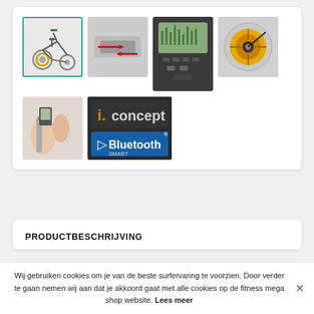[Figure (photo): Product image gallery showing a spinning/exercise bike and accessories. Row 1: (1) Full spin bike image with teal border (selected), (2) Close-up of bike adjustment mechanism with red arrows, (3) Digital display console, (4) Close-up of yellow flywheel. Row 2: (5) Person holding handlebar close-up, (6) i.concept Bluetooth Smart logo badge.]
PRODUCTBESCHRIJVING
Wij gebruiken cookies om je van de beste surfervaring te voorzien. Door verder te gaan nemen wij aan dat je akkoord gaat met alle cookies op de fitness mega shop website. Lees meer